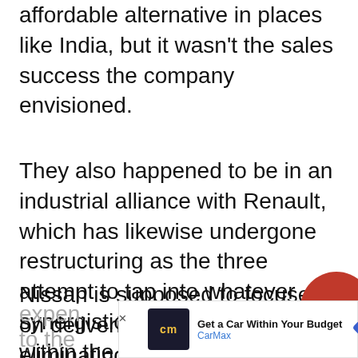affordable alternative in places like India, but it wasn't the sales success the company envisioned.
They also happened to be in an industrial alliance with Renault, which has likewise undergone restructuring as the three attempt to tap into whatever synergistic strengths are left within the partnership.
Nissan is supposed to focused on delivering new product and eliminating fixed costs wherever possible. General and administrative expenses... dition to the...
[Figure (other): Red circular button with a right-pointing chevron arrow, partially visible at right edge of page]
[Figure (other): Advertisement banner for CarMax: Get a Car Within Your Budget, with CarMax logo and navigation icon]